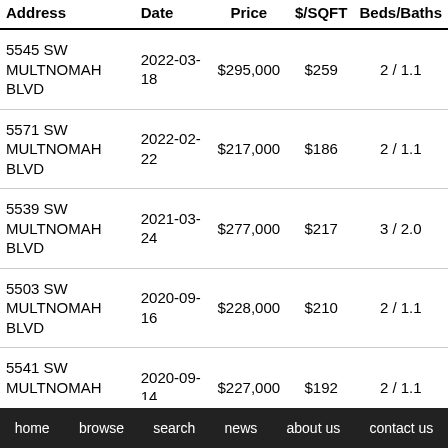| Address | Date | Price | $/SQFT | Beds/Baths |
| --- | --- | --- | --- | --- |
| 5545 SW MULTNOMAH BLVD | 2022-03-18 | $295,000 | $259 | 2 / 1.1 |
| 5571 SW MULTNOMAH BLVD | 2022-02-22 | $217,000 | $186 | 2 / 1.1 |
| 5539 SW MULTNOMAH BLVD | 2021-03-24 | $277,000 | $217 | 3 / 2.0 |
| 5503 SW MULTNOMAH BLVD | 2020-09-16 | $228,000 | $210 | 2 / 1.1 |
| 5541 SW MULTNOMAH BLVD | 2020-09-14 | $227,000 | $192 | 2 / 1.1 |
| 5553 SW MULTNOMAH BLVD | 2020-08-06 | $228,000 | $210 | 2 / 1.1 |
| 5505 SW MULTNOMAH BLVD | 2020-07-16 | $248,000 | $228 | 2 / 1.1 |
| 5559 SW MULTNOMAH BLVD | 2020-06- | $200,000 | $211 | 2 / 1.1 |
home   browse   search   news   about us   contact us